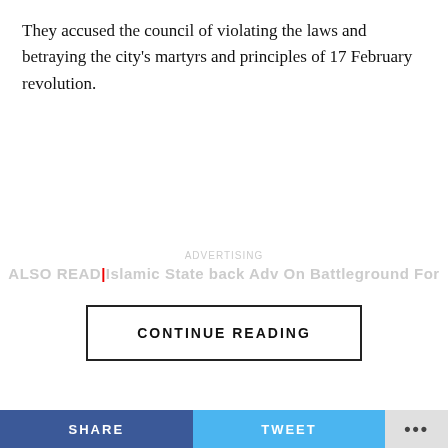They accused the council of violating the laws and betraying the city's martyrs and principles of 17 February revolution.
CONTINUE READING
LIBYA
Libya - Gunmen Storm Tripoli's Martyrs Square, Disperse Pro - Khalifa Hafta Anti Militia Protesters
SHARE   TWEET   ...